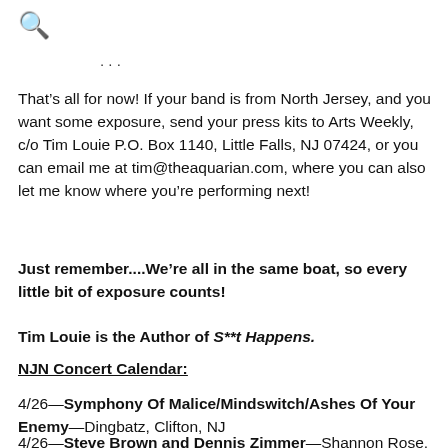🔍
That’s all for now! If your band is from North Jersey, and you want some exposure, send your press kits to Arts Weekly, c/o Tim Louie P.O. Box 1140, Little Falls, NJ 07424, or you can email me at tim@theaquarian.com, where you can also let me know where you’re performing next!
Just remember....We’re all in the same boat, so every little bit of exposure counts!
Tim Louie is the Author of S**t Happens.
NJN Concert Calendar:
4/26—Symphony Of Malice/Mindswitch/Ashes Of Your Enemy—Dingbatz, Clifton, NJ
4/26—Steve Brown and Dennis Zimmer—Shannon Rose,